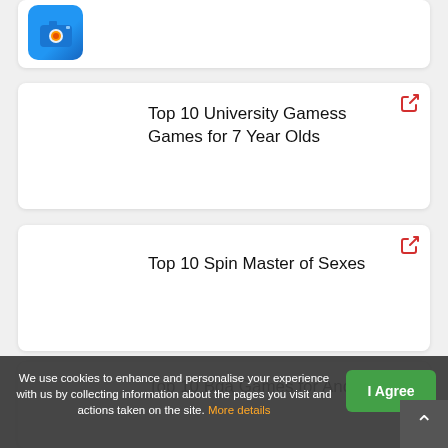[Figure (screenshot): Partial card at top showing a blue camera app icon]
Top 10 University Gamess Games for 7 Year Olds
Top 10 Spin Master of Sexes
We use cookies to enhance and personalise your experience with us by collecting information about the pages you visit and actions taken on the site. More details
Top 10 Bda Games for Androids